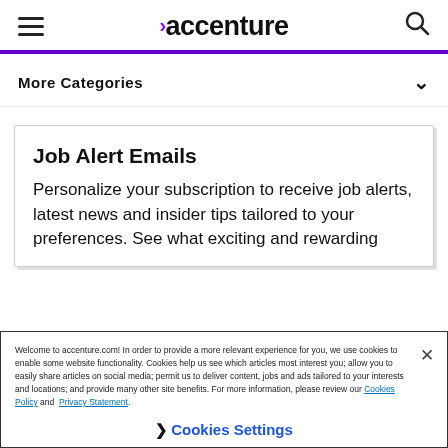accenture
More Categories
Job Alert Emails
Personalize your subscription to receive job alerts, latest news and insider tips tailored to your preferences. See what exciting and rewarding
Welcome to accenture.com! In order to provide a more relevant experience for you, we use cookies to enable some website functionality. Cookies help us see which articles most interest you; allow you to easily share articles on social media; permit us to deliver content, jobs and ads tailored to your interests and locations; and provide many other site benefits. For more information, please review our Cookies Policy and Privacy Statement.
Cookies Settings